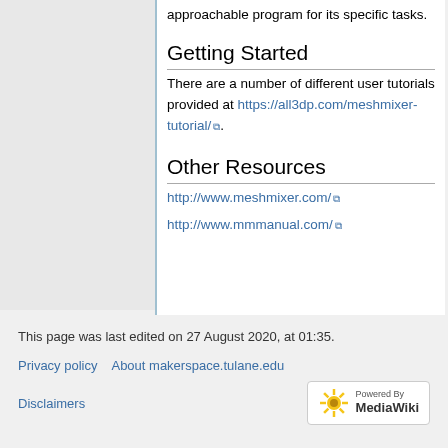approachable program for its specific tasks.
Getting Started
There are a number of different user tutorials provided at https://all3dp.com/meshmixer-tutorial/.
Other Resources
http://www.meshmixer.com/
http://www.mmmanual.com/
This page was last edited on 27 August 2020, at 01:35.
Privacy policy   About makerspace.tulane.edu   Disclaimers